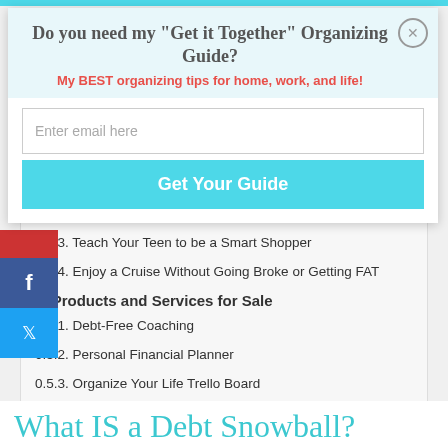Do you need my "Get it Together" Organizing Guide?
My BEST organizing tips for home, work, and life!
Enter email here
Get Your Guide
0.4.3. Teach Your Teen to be a Smart Shopper
0.4.4. Enjoy a Cruise Without Going Broke or Getting FAT
5. Products and Services for Sale
0.5.1. Debt-Free Coaching
0.5.2. Personal Financial Planner
0.5.3. Organize Your Life Trello Board
0.5.4. Moving Planner
0.5.5. Help to Start a Blog
What IS a Debt Snowball?